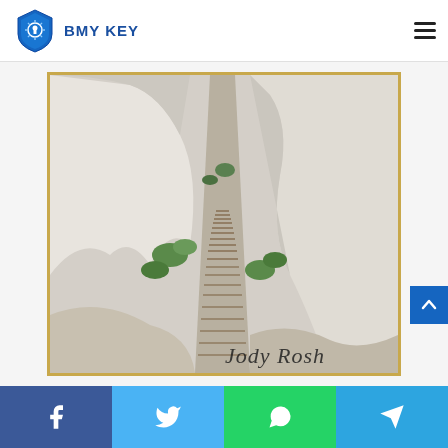BMY KEY
[Figure (photo): Photograph of rocky white cliff landscape with wooden staircase path winding between pale limestone rocks and sparse green shrubs, with cursive text 'Jody Rosh' partially visible at bottom right. Image has a golden/tan border frame.]
Social share bar with Facebook, Twitter, WhatsApp, and Telegram buttons